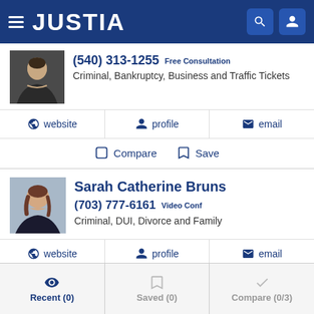JUSTIA
(540) 313-1255 Free Consultation
Criminal, Bankruptcy, Business and Traffic Tickets
website  profile  email
Compare  Save
Sarah Catherine Bruns
(703) 777-6161 Video Conf
Criminal, DUI, Divorce and Family
website  profile  email
Compare  Save
Recent (0)  Saved (0)  Compare (0/3)